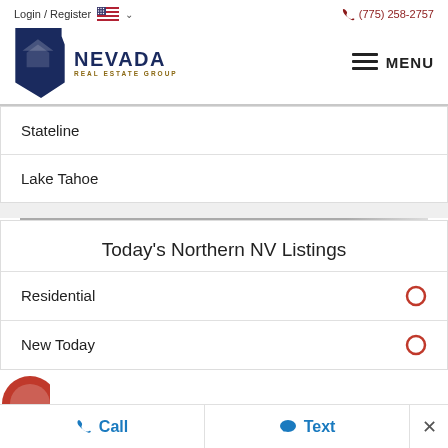Login / Register   (775) 258-2757
[Figure (logo): Nevada Real Estate Group logo with state shape silhouette]
Stateline
Lake Tahoe
Today's Northern NV Listings
Residential
New Today
Call   Text   ×